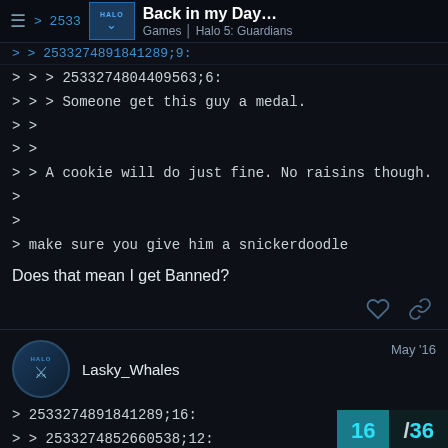Back in my Day... Games | Halo 5: Guardians
> > 2533274891841289;9:
> > > 2533274804409563;6:
> > > Someone get this guy a medal.
> >
> >
> > A cookie will do just fine. No raisins though.
>
>
> make sure you give him a snickerdoodle
Does that mean I get Banned?
Lasky_Whales  May '16
> 2533274891841289;16:
> > 2533274852660538;12: